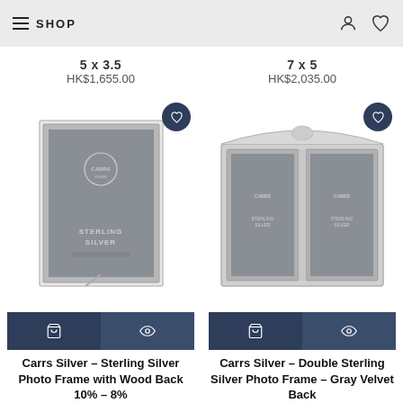SHOP
5 x 3.5  HK$1,655.00
7 x 5  HK$2,035.00
[Figure (photo): Carrs Silver sterling silver single photo frame with wood back, shown with branded insert]
[Figure (photo): Carrs Silver double sterling silver photo frame with ornate top and gray velvet back insert]
Carrs Silver – Sterling Silver Photo Frame with Wood Back 10% – 8%
Carrs Silver – Double Sterling Silver Photo Frame – Gray Velvet Back